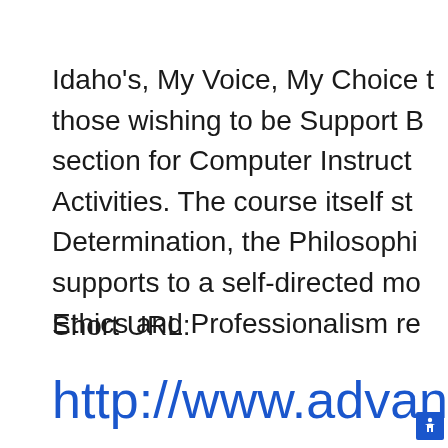Idaho's, My Voice, My Choice t those wishing to be Support B section for Computer Instruct Activities. The course itself st Determination, the Philosophi supports to a self-directed mo Ethics and Professionalism re
Short URL:
http://www.advan